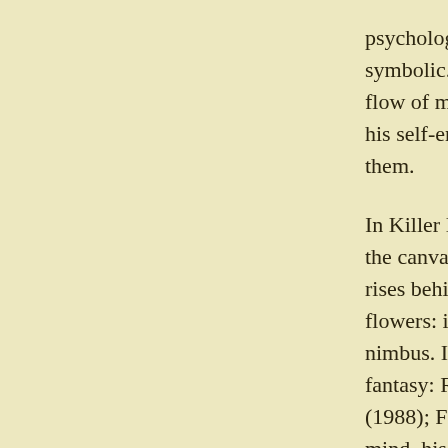psychological demarcation between paint symbolic. The atmosphere is close, as hea flow of marks, like mail from a suit of ar his self-enclosure, we must think, too, of them.
In Killer Bee, a supine and apparently sle the canvas, hard against the edge, while a rises behind him, revealing sensuous, pai flowers: it could be a dream, an emanatio nimbus. In any case, it is thematically joi fantasy: Richard and Mockingbird — Na (1988); Fall Migration (1988); or Settee ( mind, his fixations and dreams, the sema brought into play: in Fall Migration, Tom palette to capture the momentary bright s corners and hallways; he disrupts notatio